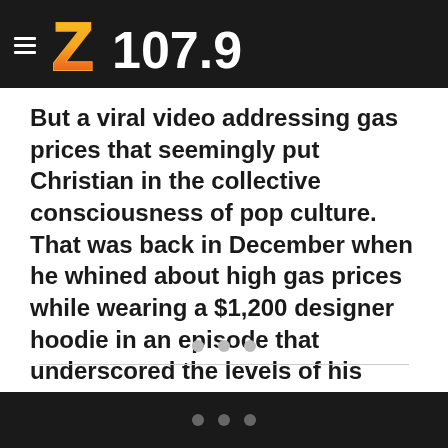Z107.9
But a viral video addressing gas prices that seemingly put Christian in the collective consciousness of pop culture. That was back in December when he whined about high gas prices while wearing a $1,200 designer hoodie in an episode that underscored the levels of his tone-deafness.